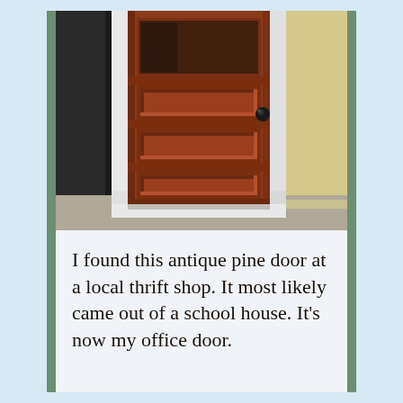[Figure (photo): Photo of an antique pine wooden door with glass panel at top and three recessed rectangular panels below, dark brown/reddish wood finish, black door knob on right side, door set in white door frame against a wall, viewed slightly from the side showing depth]
I found this antique pine door at a local thrift shop. It most likely came out of a school house. It's now my office door.